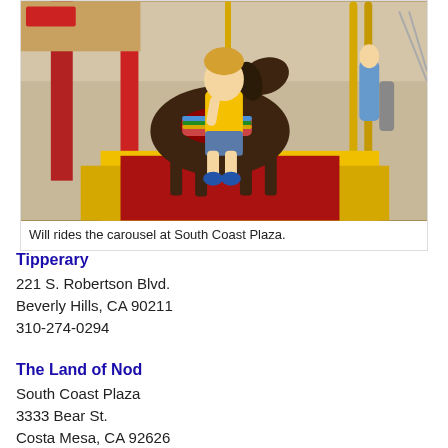[Figure (photo): A young child in a yellow t-shirt riding a carousel horse at South Coast Plaza. The carousel horse is dark brown with colorful decorations. The mall interior is visible in the background.]
Will rides the carousel at South Coast Plaza.
Tipperary
221 S. Robertson Blvd.
Beverly Hills, CA 90211
310-274-0294
The Land of Nod
South Coast Plaza
3333 Bear St.
Costa Mesa, CA 92626